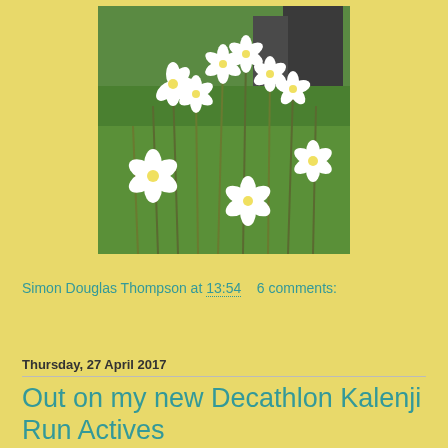[Figure (photo): Photograph of white flowers (possibly wood anemones or similar) growing in green grass, with dark gravestones or stone structures visible in the background.]
Simon Douglas Thompson at 13:54    6 comments:
Share
Thursday, 27 April 2017
Out on my new Decathlon Kalenji Run Actives